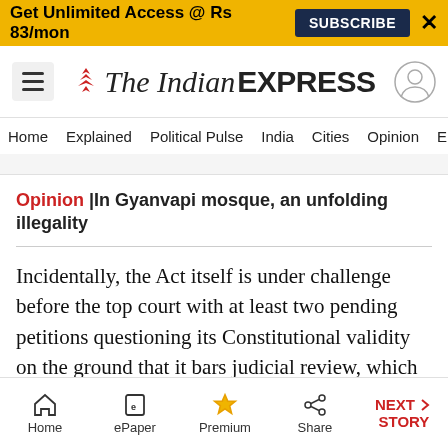Get Unlimited Access @ Rs 83/mon  SUBSCRIBE  X
The Indian EXPRESS
Home  Explained  Political Pulse  India  Cities  Opinion  Entertainment
Opinion |In Gyanvapi mosque, an unfolding illegality
Incidentally, the Act itself is under challenge before the top court with at least two pending petitions questioning its Constitutional validity on the ground that it bars judicial review, which is a basic feature of the Constitution, and abridges the right to religion of Hindus, Jains, Buddhists and Sikhs.
Home  ePaper  Premium  Share  NEXT STORY